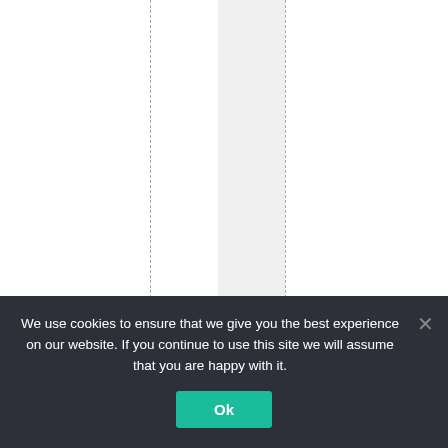n w a s s e t u p t o a l l o w E u
We use cookies to ensure that we give you the best experience on our website. If you continue to use this site we will assume that you are happy with it.